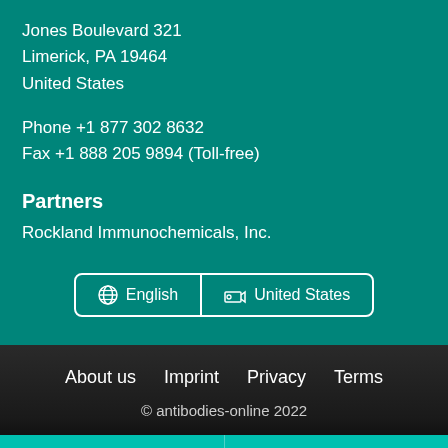Jones Boulevard 321
Limerick, PA 19464
United States
Phone +1 877 302 8632
Fax +1 888 205 9894 (Toll-free)
Partners
Rockland Immunochemicals, Inc.
🌐 English  🚚 United States
About us  Imprint  Privacy  Terms
© antibodies-online 2022
Save / Share
Support